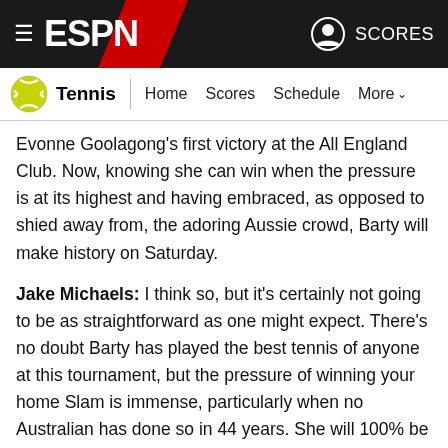ESPN - Tennis navigation bar
Evonne Goolagong's first victory at the All England Club. Now, knowing she can win when the pressure is at its highest and having embraced, as opposed to shied away from, the adoring Aussie crowd, Barty will make history on Saturday.
Jake Michaels: I think so, but it's certainly not going to be as straightforward as one might expect. There's no doubt Barty has played the best tennis of anyone at this tournament, but the pressure of winning your home Slam is immense, particularly when no Australian has done so in 44 years. She will 100% be feeling the nerves and expectation as she walks out onto Rod Laver Arena. Still, I think she gets it done!
Matt Walsh: Looking at her form in Australia this season so far, it's looking very likely. She's played barely six hours of